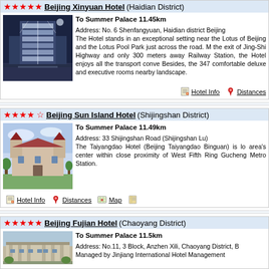★★★★★ Beijing Xinyuan Hotel (Haidian District)
[Figure (photo): Night photo of Beijing Xinyuan Hotel, modern tall building with lit facade]
To Summer Palace 11.45km
Address: No. 6 Shenfangyuan, Haidian district Beijing
The Hotel stands in an exceptional setting near the Lotus of Beijing and the Lotus Pool Park just across the road. M the exit of Jing-Shi Highway and only 300 meters away Railway Station, the Hotel enjoys all the transport conve Besides, the 347 comfortable deluxe and executive rooms nearby landscape.
Hotel Info   Distances
★★★★☆ Beijing Sun Island Hotel (Shijingshan District)
[Figure (photo): Photo of Beijing Sun Island Hotel, castle-style building with sky background]
To Summer Palace 11.49km
Address: 33 Shijingshan Road (Shijingshan Lu)
The Taiyangdao Hotel (Beijing Taiyangdao Binguan) is lo area's center within close proximity of West Fifth Ring Gucheng Metro Station.
Hotel Info   Distances   Map
★★★★★ Beijing Fujian Hotel (Chaoyang District)
[Figure (photo): Partial photo of Beijing Fujian Hotel building]
To Summer Palace 11.5km
Address: No.11, 3 Block, Anzhen Xili, Chaoyang District, B
Managed by Jinjiang International Hotel Management